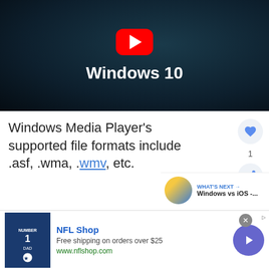[Figure (screenshot): YouTube video thumbnail with red play button on dark blue background showing title 'Windows 10']
Windows Media Player's supported file formats include .asf, .wma, .wmv, etc.
[Figure (infographic): What's Next section showing Windows vs iOS thumbnail]
[Figure (infographic): NFL Shop advertisement with NFL jersey image, 'Free shipping on orders over $25', www.nflshop.com]